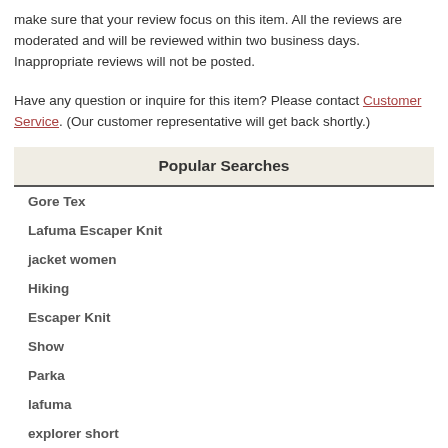make sure that your review focus on this item. All the reviews are moderated and will be reviewed within two business days. Inappropriate reviews will not be posted.
Have any question or inquire for this item? Please contact Customer Service. (Our customer representative will get back shortly.)
Popular Searches
Gore Tex
Lafuma Escaper Knit
jacket women
Hiking
Escaper Knit
Show
Parka
lafuma
explorer short
lafuma rambler men